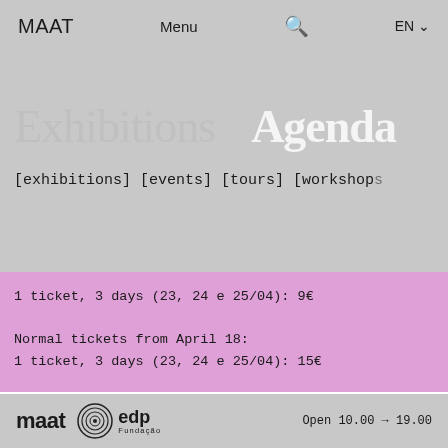MAAT  Menu  🔍  EN
Exhibitions  Agenda
[exhibitions] [events] [tours] [workshops]
1 ticket, 3 days (23, 24 e 25/04): 9€

Normal tickets from April 18:
1 ticket, 3 days (23, 24 e 25/04): 15€
[Figure (photo): Abstract blurred pink and mauve tones, soft gradient artwork image]
maat  edp Fundação  Open 10.00 → 19.00